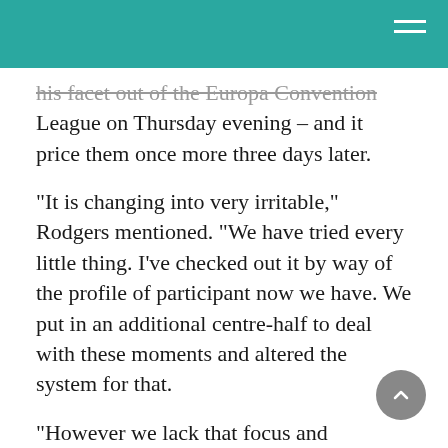[teal header bar with hamburger menu]
his facet out of the Europa Convention League on Thursday evening – and it price them once more three days later.
“It is changing into very irritable,” Rodgers mentioned. “We have tried every little thing. I’ve checked out it by way of the profile of participant now we have. We put in an additional centre-half to deal with these moments and altered the system for that.
“However we lack that focus and dedication to defend it and in case you maintain doing that, you undo a whole lot of your good work